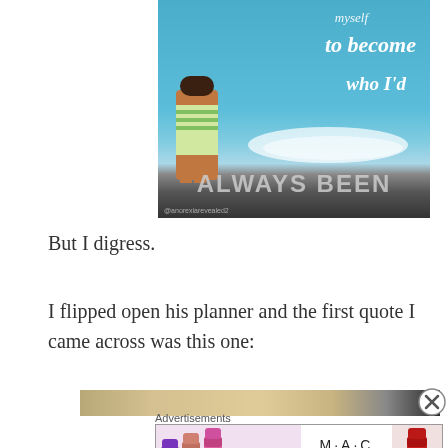[Figure (photo): Inspirational image with a woman standing at the beach, overlaid with white italic text reading 'myself to become who I'd ALWAYS BEEN'. Watermark '@anorexiarevealed2' in the lower left.]
But I digress.
I flipped open his planner and the first quote I came across was this one:
[Figure (photo): Partial image strip showing what appears to be a pencil or brush on a wooden surface.]
Advertisements
[Figure (photo): MAC Cosmetics advertisement banner showing colorful lipsticks on the left, MAC logo in the center, a 'SHOP NOW' button box, and a red lipstick on the right.]